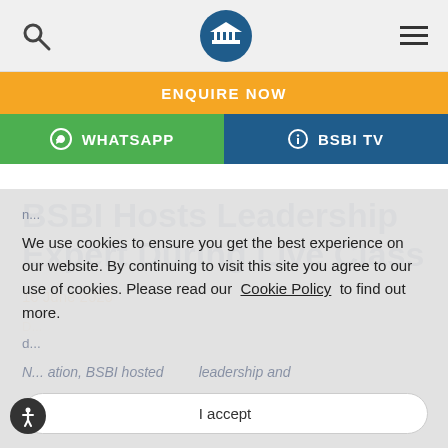Navigation bar with search, BSBI logo, and menu icon
ENQUIRE NOW
WHATSAPP   BSBI TV
BSBI Hosts Leadership Expert During Live Class
16 June 2020
We use cookies to ensure you get the best experience on our website. By continuing to visit this site you agree to our use of cookies. Please read our Cookie Policy to find out more.
I accept